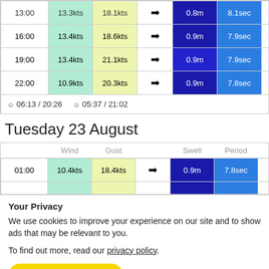| Time | Wind | Gust |  | Swell | Period |  |
| --- | --- | --- | --- | --- | --- | --- |
| 13:00 | 13.3kts | 18.1kts | → | 0.8m | 8.1sec |  |
| 16:00 | 13.4kts | 18.6kts | → | 0.9m | 7.9sec |  |
| 19:00 | 13.4kts | 21.1kts | → | 0.9m | 7.9sec |  |
| 22:00 | 10.9kts | 20.3kts | → | 0.9m | 7.8sec |  |
| ☼ 06:13 / 20:26   ☼ 05:37 / 21:02 |  |  |  |  |  |  |
Tuesday 23 August
|  | Wind | Gust |  | Swell | Period |  |
| --- | --- | --- | --- | --- | --- | --- |
| 01:00 | 10.4kts | 18.4kts | → | 0.9m | 7.8sec |  |
Your Privacy
We use cookies to improve your experience on our site and to show ads that may be relevant to you.
To find out more, read our privacy policy.
✓ I'm OK with that   My options